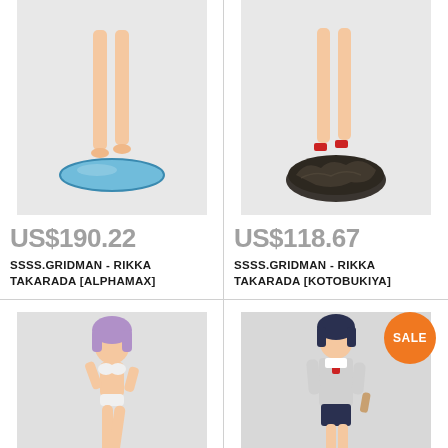[Figure (photo): Anime figurine of Rikka Takarada from SSSS.GRIDMAN, showing legs and blue circular base, by Alphamax]
US$190.22
SSSS.GRIDMAN - RIKKA TAKARADA [ALPHAMAX]
[Figure (photo): Anime figurine of Rikka Takarada from SSSS.GRIDMAN, showing legs and dark rocky base, by Kotobukiya]
US$118.67
SSSS.GRIDMAN - RIKKA TAKARADA [KOTOBUKIYA]
[Figure (photo): Anime figurine of a purple-haired girl in bikini with pink circular base]
[Figure (photo): Anime figurine of a dark-haired girl in school uniform with SALE badge overlay]